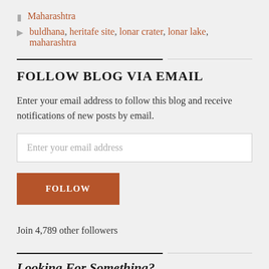Maharashtra
buldhana, heritafe site, lonar crater, lonar lake, maharashtra
FOLLOW BLOG VIA EMAIL
Enter your email address to follow this blog and receive notifications of new posts by email.
Enter your email address
FOLLOW
Join 4,789 other followers
Looking For Something?